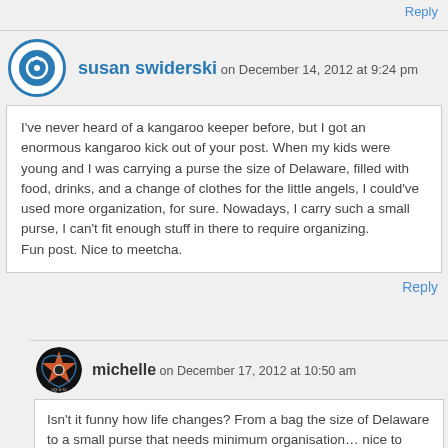Reply
susan swiderski on December 14, 2012 at 9:24 pm
I've never heard of a kangaroo keeper before, but I got an enormous kangaroo kick out of your post. When my kids were young and I was carrying a purse the size of Delaware, filled with food, drinks, and a change of clothes for the little angels, I could've used more organization, for sure. Nowadays, I carry such a small purse, I can't fit enough stuff in there to require organizing.
Fun post. Nice to meetcha.
Reply
michelle on December 17, 2012 at 10:50 am
Isn't it funny how life changes? From a bag the size of Delaware to a small purse that needs minimum organisation… nice to meet you to Susan!